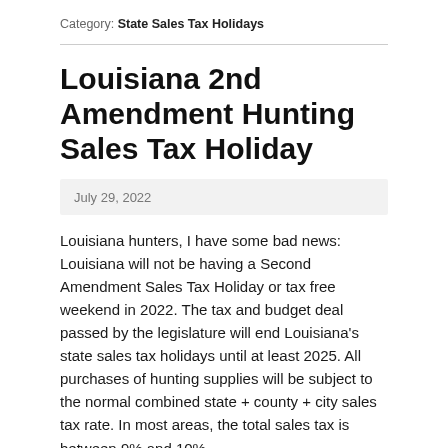Category: State Sales Tax Holidays
Louisiana 2nd Amendment Hunting Sales Tax Holiday
July 29, 2022
Louisiana hunters, I have some bad news: Louisiana will not be having a Second Amendment Sales Tax Holiday or tax free weekend in 2022. The tax and budget deal passed by the legislature will end Louisiana’s state sales tax holidays until at least 2025. All purchases of hunting supplies will be subject to the normal combined state + county + city sales tax rate. In most areas, the total sales tax is between 9% and 10%.
In previous years, sportsmen and women could purchase virtually any item of gear during the announced hunting season